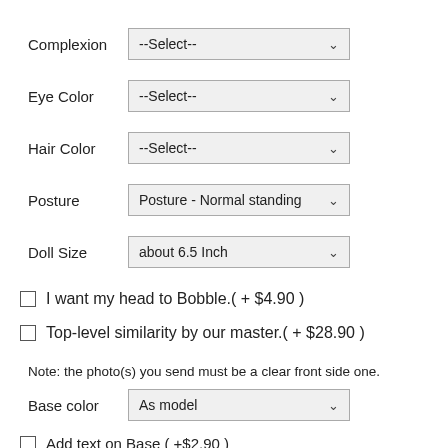Complexion --Select--
Eye Color --Select--
Hair Color --Select--
Posture Posture - Normal standing
Doll Size about 6.5 Inch
I want my head to Bobble.( + $4.90 )
Top-level similarity by our master.( + $28.90 )
Note: the photo(s) you send must be a clear front side one.
Base color As model
Add text on Base ( +$2.90 )